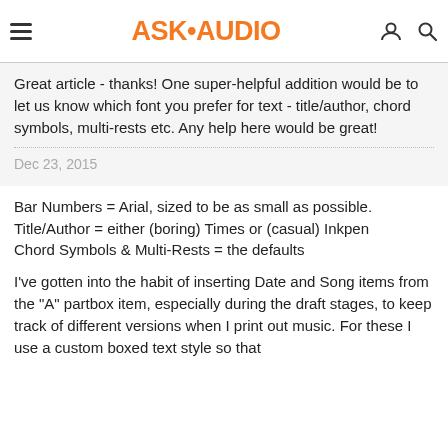ASK•AUDIO
Great article - thanks! One super-helpful addition would be to let us know which font you prefer for text - title/author, chord symbols, multi-rests etc. Any help here would be great!
Dec 23, 2015
Bar Numbers = Arial, sized to be as small as possible.
Title/Author = either (boring) Times or (casual) Inkpen
Chord Symbols & Multi-Rests = the defaults
I've gotten into the habit of inserting Date and Song items from the "A" partbox item, especially during the draft stages, to keep track of different versions when I print out music. For these I use a custom boxed text style so that